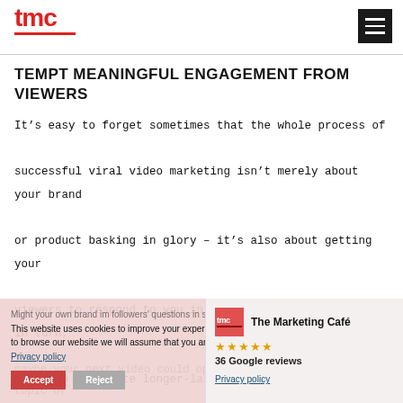[Figure (logo): TMC logo with red text and red underline, plus hamburger menu icon on right]
TEMPT MEANINGFUL ENGAGEMENT FROM VIEWERS
It’s easy to forget sometimes that the whole process of successful viral video marketing isn’t merely about your brand or product basking in glory – it’s also about getting your viewers to respond to you in a significant way. This, in turn, helps to cultivate longer-lasting interest and loyalty.
Might your own brand in followers’ questions in sh
maybe your next video could open a grand debate on a topic of
This website uses cookies to improve your experience. By continuing to browse our website we will assume that you are happy with this.
[Figure (other): The Marketing Café Google review card with logo, 5 stars, and 36 Google reviews]